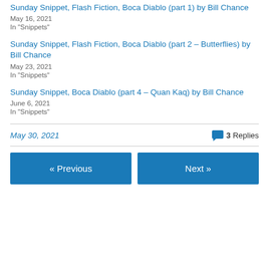Sunday Snippet, Flash Fiction, Boca Diablo (part 1) by Bill Chance
May 16, 2021
In "Snippets"
Sunday Snippet, Flash Fiction, Boca Diablo (part 2 – Butterflies) by Bill Chance
May 23, 2021
In "Snippets"
Sunday Snippet, Boca Diablo (part 4 – Quan Kaq) by Bill Chance
June 6, 2021
In "Snippets"
May 30, 2021    3 Replies
« Previous    Next »